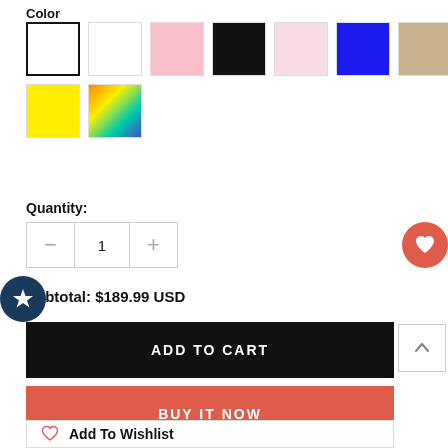Color
[Figure (other): Color swatches: white (selected/outlined), white, light pink, black, pale pink, blue, tan, red, yellow, multicolor gradient]
Quantity:
[Figure (other): Quantity selector with minus button, value 1, and plus button]
Subtotal: $189.99 USD
ADD TO CART
BUY IT NOW
Add To Wishlist